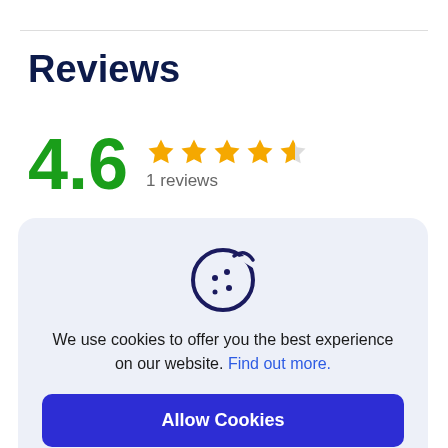Reviews
4.6
1 reviews
5 Stars  0%
4 Stars  0%
3  100%
2 Stars  0%
1 Star  0%
[Figure (illustration): Cookie icon — stylized cookie with bite taken out and dots]
We use cookies to offer you the best experience on our website. Find out more.
Allow Cookies
Nope, thanks
All reviews (1)